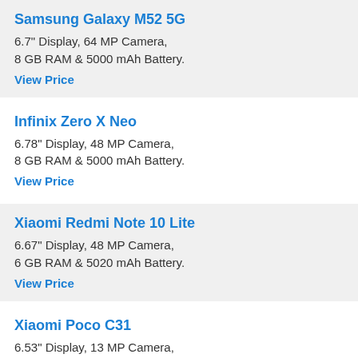Samsung Galaxy M52 5G
6.7" Display, 64 MP Camera, 8 GB RAM & 5000 mAh Battery.
View Price
Infinix Zero X Neo
6.78" Display, 48 MP Camera, 8 GB RAM & 5000 mAh Battery.
View Price
Xiaomi Redmi Note 10 Lite
6.67" Display, 48 MP Camera, 6 GB RAM & 5020 mAh Battery.
View Price
Xiaomi Poco C31
6.53" Display, 13 MP Camera, 4 GB RAM & 5000 mAh Battery.